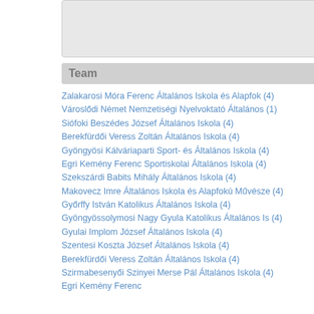Team
Zalakarosi Móra Ferenc Általános Iskola és Alapfok (4)
Városlődi Német Nemzetiségi Nyelvoktató Általános (1)
Siófoki Beszédes József Általános Iskola (4)
Berekfürdői Veress Zoltán Általános Iskola (4)
Gyöngyösi Kálváriaparti Sport- és Általános Iskola (4)
Egri Kemény Ferenc Sportiskolai Általános Iskola (4)
Szekszárdi Babits Mihály Általános Iskola (4)
Makovecz Imre Általános Iskola és Alapfokú Művésze (4)
Győrffy István Katolikus Általános Iskola (4)
Gyöngyössolymosi Nagy Gyula Katolikus Általános Is (4)
Gyulai Implom József Általános Iskola (4)
Szentesi Koszta József Általános Iskola (4)
Berekfürdői Veress Zoltán Általános Iskola (4)
Szirmabesenyői Szinyei Merse Pál Általános Iskola (4)
Egri Kemény Ferenc
| Pos | Bib | Name | Time |
| --- | --- | --- | --- |
| 10 | 3040 | KISS Szilárd Olivér | 00:24:43 |
| 11 | 3025 | VIZSY Domonkos | 00:24:51 |
| 12 | 3103 | Varga Dávid | 00:24:52 |
| 13 | 3092 | Daróczi Péter | 00:24:56 |
| 14 | 3018 | FAZEKAS Milán | 00:25:14 |
| 15 | 3017 | BÖSZÖRMÉNYI Bendegúz | 00:25:15 |
| 16 | 3113 | Hóbor Zalán | 00:25:15 |
| 17 | 3101 | Takács Dániel | 00:25:16 |
| 18 | 3051 | PALUSKA Péter | 00:25:16 |
| 19 | 3099 | Tóth Zalán | 00:25:19 |
| 20 | 3016 | TAKACS-VALENT Máté | 00:25:24 |
| 21 | 3060 | MÜLLER Bence | 00:25:25 |